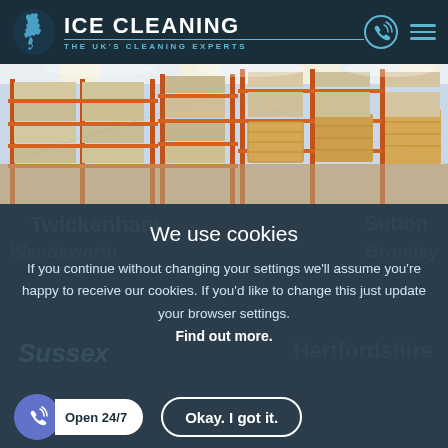[Figure (logo): Ice Cleaning logo with UK map icon and text 'ICE CLEANING - THE UK'S CLEANING EXPERTS' on dark navy header with phone and menu icons]
[Figure (photo): Warehouse interior with orange metal shelving racks stacked with boxes and wrapped pallets, bright lighting]
We use cookies
If you continue without changing your settings we'll assume you're happy to receive our cookies. If you'd like to change this just update your browser settings. Find out more.
Open 24/7
Okay. I got it.